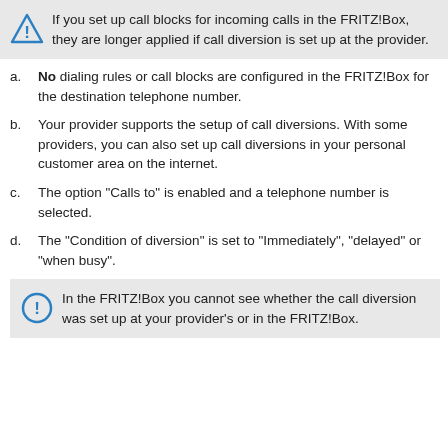If you set up call blocks for incoming calls in the FRITZ!Box, they are longer applied if call diversion is set up at the provider.
No dialing rules or call blocks are configured in the FRITZ!Box for the destination telephone number.
Your provider supports the setup of call diversions. With some providers, you can also set up call diversions in your personal customer area on the internet.
The option "Calls to" is enabled and a telephone number is selected.
The "Condition of diversion" is set to "Immediately", "delayed" or "when busy".
In the FRITZ!Box you cannot see whether the call diversion was set up at your provider's or in the FRITZ!Box.